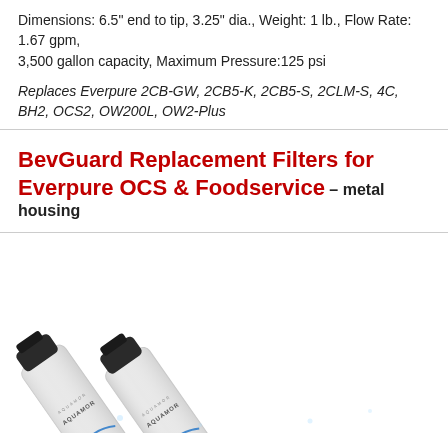Dimensions: 6.5" end to tip, 3.25" dia., Weight: 1 lb., Flow Rate: 1.67 gpm, 3,500 gallon capacity, Maximum Pressure:125 psi
Replaces Everpure 2CB-GW, 2CB5-K, 2CB5-S, 2CLM-S, 4C, BH2, OCS2, OW200L, OW2-Plus
BevGuard Replacement Filters for Everpure OCS & Foodservice – metal housing
[Figure (photo): Two white cylindrical water filter cartridges labeled AQUAMOR with black end caps, shown at an angle against a white background with water droplet effects.]